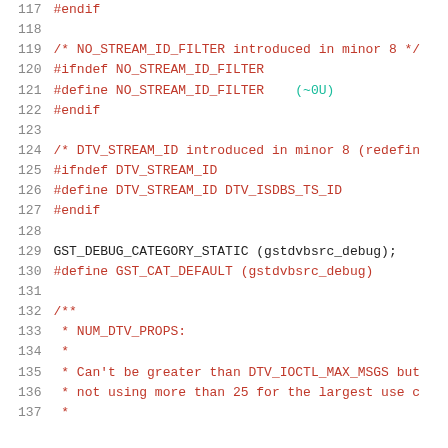117  #endif
118
119  /* NO_STREAM_ID_FILTER introduced in minor 8 */
120  #ifndef NO_STREAM_ID_FILTER
121  #define NO_STREAM_ID_FILTER    (~0U)
122  #endif
123
124  /* DTV_STREAM_ID introduced in minor 8 (redefin
125  #ifndef DTV_STREAM_ID
126  #define DTV_STREAM_ID DTV_ISDBS_TS_ID
127  #endif
128
129  GST_DEBUG_CATEGORY_STATIC (gstdvbsrc_debug);
130  #define GST_CAT_DEFAULT (gstdvbsrc_debug)
131
132  /**
133   * NUM_DTV_PROPS:
134   *
135   * Can't be greater than DTV_IOCTL_MAX_MSGS but
136   * not using more than 25 for the largest use c
137   *